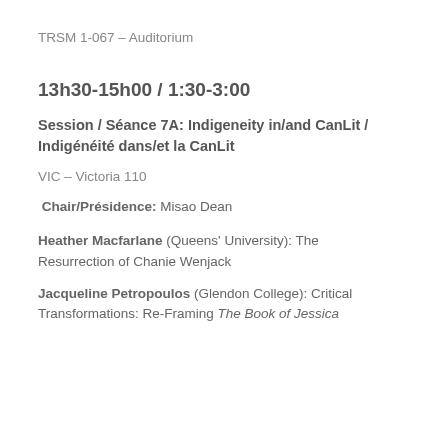TRSM 1-067 – Auditorium
13h30-15h00 / 1:30-3:00
Session / Séance 7A: Indigeneity in/and CanLit / Indigénéité dans/et la CanLit
VIC – Victoria 110
Chair/Présidence: Misao Dean
Heather Macfarlane (Queens' University): The Resurrection of Chanie Wenjack
Jacqueline Petropoulos (Glendon College): Critical Transformations: Re-Framing The Book of Jessica